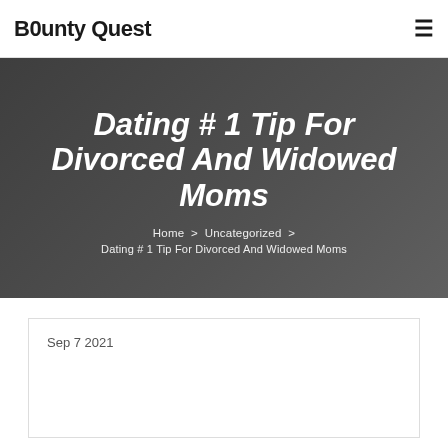B0unty Quest
Dating # 1 Tip For Divorced And Widowed Moms
Home > Uncategorized > Dating # 1 Tip For Divorced And Widowed Moms
Sep 7 2021